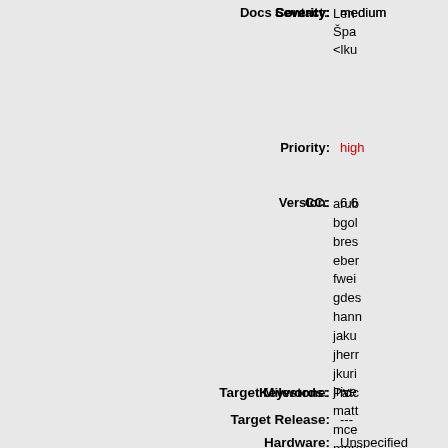Severity: medium
Docs Contact: Lenk Špa... <lku...
Priority: high
Version: 6.6
CC: arub bgol bres eber fwei gdes hann jaku jherr jkuri jrive matt mce mpro nick ohud base tools sgru tlavi
Target Milestone: rc
Keywords: Patc
Target Release: ---
Hardware: Unspecified